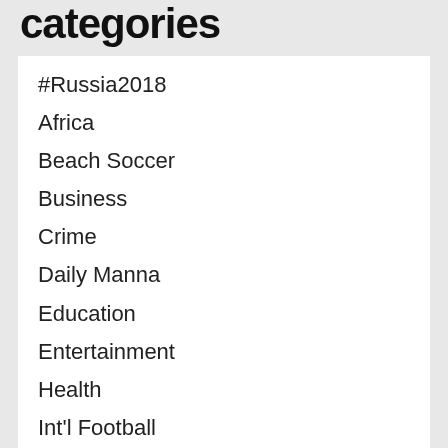categories
#Russia2018
Africa
Beach Soccer
Business
Crime
Daily Manna
Education
Entertainment
Health
Int'l Football
National
News
Nigeria Leagues
Opinions
Other Sports
PHOTO News